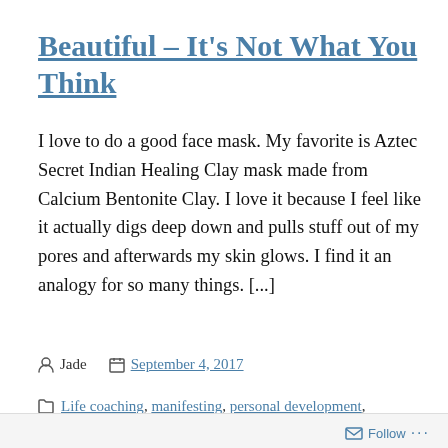Beautiful – It's Not What You Think
I love to do a good face mask. My favorite is Aztec Secret Indian Healing Clay mask made from Calcium Bentonite Clay. I love it because I feel like it actually digs deep down and pulls stuff out of my pores and afterwards my skin glows. I find it an analogy for so many things. [...]
Jade   September 4, 2017
Life coaching, manifesting, personal development,